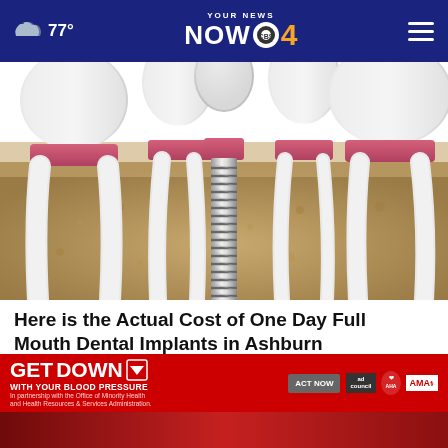77° YOUR NEWS NOW CBS 4
[Figure (illustration): 3D medical illustration showing a cross-section of teeth and jawbone with a dental implant (metal screw) shown in the center, surrounded by natural tooth roots embedded in bone tissue]
Here is the Actual Cost of One Day Full Mouth Dental Implants in Ashburn
Dental Implants | Sponsored
[Figure (screenshot): GET DOWN WITH YOUR BLOOD PRESSURE advertisement banner in red with Act Now button and ad council, American Heart Association, and AMA logos]
[Figure (photo): Bottom strip showing partial image, appears red/dark]